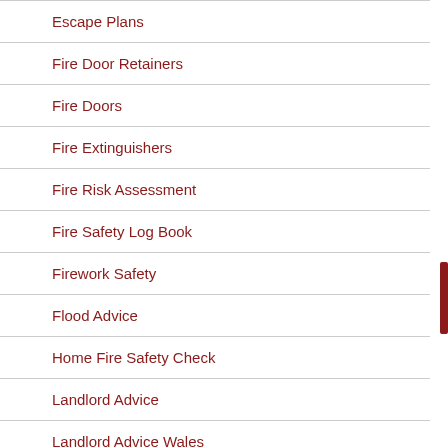Escape Plans
Fire Door Retainers
Fire Doors
Fire Extinguishers
Fire Risk Assessment
Fire Safety Log Book
Firework Safety
Flood Advice
Home Fire Safety Check
Landlord Advice
Landlord Advice Wales
Mains Smoke Alarms